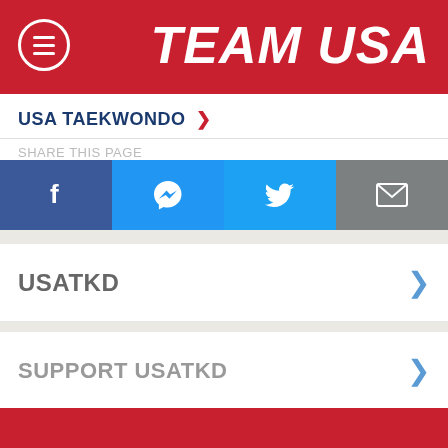TEAM USA
USA TAEKWONDO >
[Figure (infographic): Social share bar with Facebook, Messenger, Twitter, and Email icons]
USATKD
SUPPORT USATKD